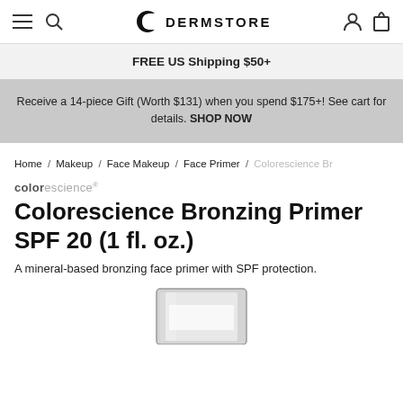DERMSTORE navigation bar with menu, search, account, and cart icons
FREE US Shipping $50+
Receive a 14-piece Gift (Worth $131) when you spend $175+! See cart for details. SHOP NOW
Home / Makeup / Face Makeup / Face Primer / Colorescience Br
colorescience
Colorescience Bronzing Primer SPF 20 (1 fl. oz.)
A mineral-based bronzing face primer with SPF protection.
[Figure (photo): Partial product image of Colorescience Bronzing Primer bottle at bottom of page]